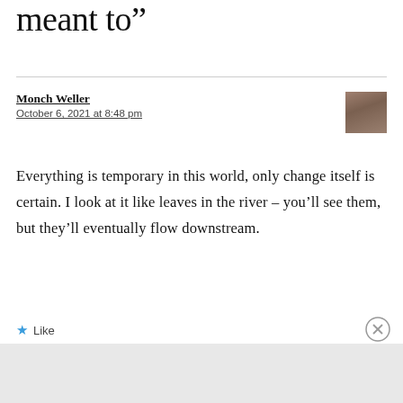meant to”
Monch Weller
October 6, 2021 at 8:48 pm
Everything is temporary in this world, only change itself is certain. I look at it like leaves in the river – you’ll see them, but they’ll eventually flow downstream.
★ Like
[Figure (screenshot): DuckDuckGo advertisement banner with orange background. Text reads: Search, browse, and email with more privacy. All in One Free App. Shows a smartphone image with DuckDuckGo logo.]